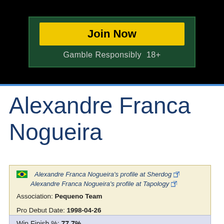[Figure (other): Advertisement banner with 'Join Now' yellow button on dark green background, with text 'Gamble Responsibly 18+']
Alexandre Franca Nogueira
Alexandre Franca Nogueira's profile at Sherdog
Alexandre Franca Nogueira's profile at Tapology
Association: Pequeno Team
Pro Debut Date: 1998-04-26
Pro Record: 18-6-3
Win Finish %: 77.7%